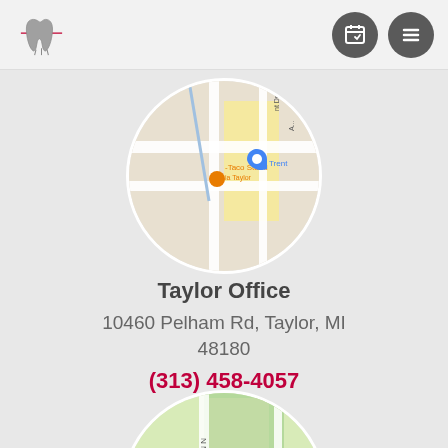Dental office logo and navigation icons
[Figure (map): Circular cropped Google Map showing Taylor, MI area with Taco Stand marker (orange) and Trent marker (blue)]
Taylor Office
10460 Pelham Rd, Taylor, MI 48180
(313) 458-4057
[Figure (map): Circular cropped Google Map showing area with Village marker (blue), HOMES Brewery marker (orange), N Maple Rd label]